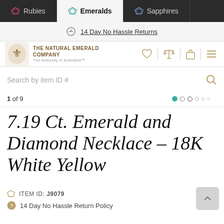[Figure (screenshot): Website navigation bar with three gem tabs: Rubies (pink diamond icon), Emeralds (teal diamond icon, active/selected), Sapphires (blue diamond icon)]
14 Day No Hassle Returns
[Figure (logo): The Natural Emerald Company logo with crest, text THE NATURAL EMERALD COMPANY, The Authority in Emeralds™]
Search by item ID #
1 of 9
7.19 Ct. Emerald and Diamond Necklace – 18K White Yellow
ITEM ID: J9079
14 Day No Hassle Return Policy